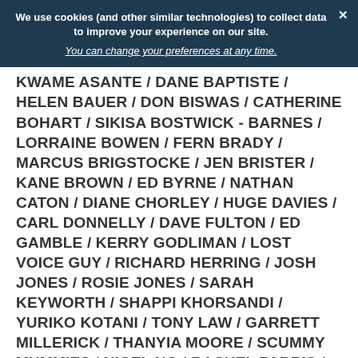We use cookies (and other similar technologies) to collect data to improve your experience on our site. You can change your preferences at any time.
KWAME ASANTE / DANE BAPTISTE / HELEN BAUER / DON BISWAS / CATHERINE BOHART / SIKISA BOSTWICK - BARNES / LORRAINE BOWEN / FERN BRADY / MARCUS BRIGSTOCKE / JEN BRISTER / KANE BROWN / ED BYRNE / NATHAN CATON / DIANE CHORLEY / HUGE DAVIES / CARL DONNELLY / DAVE FULTON / ED GAMBLE / KERRY GODLIMAN / LOST VOICE GUY / RICHARD HERRING / JOSH JONES / ROSIE JONES / SARAH KEYWORTH / SHAPPI KHORSANDI / YURIKO KOTANI / TONY LAW / GARRETT MILLERICK / THANYIA MOORE / SCUMMY MUMMIES / NIGEL NG / RACHEL PARRIS / JOHNNY PELHAM / MAWAAN RIZWAN / ELEANOR TIERNAN / SINDHU VEE / SOPHIE WILLAN / RICH WILSON / GLENN WOOL & MORE SURPRISE GUESTS
Plus beaming into the show digitally are special